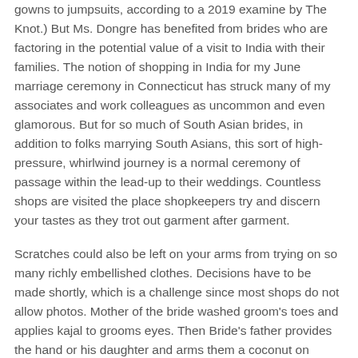gowns to jumpsuits, according to a 2019 examine by The Knot.) But Ms. Dongre has benefited from brides who are factoring in the potential value of a visit to India with their families. The notion of shopping in India for my June marriage ceremony in Connecticut has struck many of my associates and work colleagues as uncommon and even glamorous. But for so much of South Asian brides, in addition to folks marrying South Asians, this sort of high-pressure, whirlwind journey is a normal ceremony of passage within the lead-up to their weddings. Countless shops are visited the place shopkeepers try and discern your tastes as they trot out garment after garment.
Scratches could also be left on your arms from trying on so many richly embellished clothes. Decisions have to be made shortly, which is a challenge since most shops do not allow photos. Mother of the bride washed groom's toes and applies kajal to grooms eyes. Then Bride's father provides the hand or his daughter and arms them a coconut on